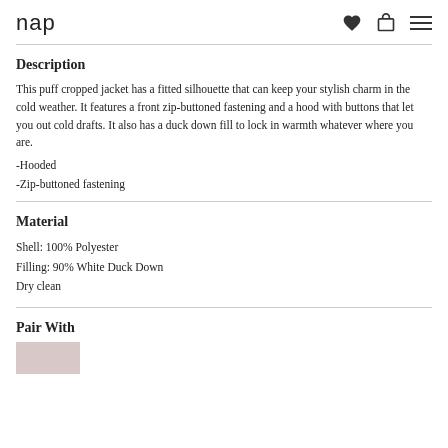nap
Description
This puff cropped jacket has a fitted silhouette that can keep your stylish charm in the cold weather. It features a front zip-buttoned fastening and a hood with buttons that let you out cold drafts. It also has a duck down fill to lock in warmth whatever where you are.
-Hooded
-Zip-buttoned fastening
Material
Shell: 100% Polyester
Filling: 90% White Duck Down
Dry clean
Pair With
[Figure (photo): Product image placeholder for paired item]